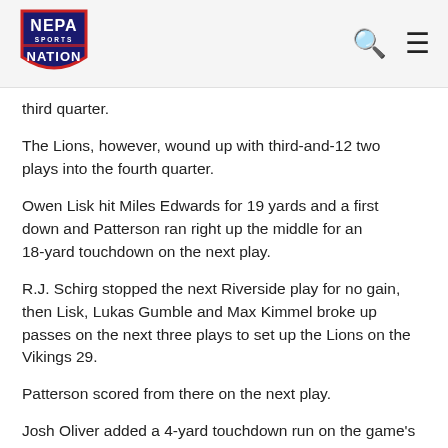NEPA Sports Nation
third quarter.
The Lions, however, wound up with third-and-12 two plays into the fourth quarter.
Owen Lisk hit Miles Edwards for 19 yards and a first down and Patterson ran right up the middle for an 18-yard touchdown on the next play.
R.J. Schirg stopped the next Riverside play for no gain, then Lisk, Lukas Gumble and Max Kimmel broke up passes on the next three plays to set up the Lions on the Vikings 29.
Patterson scored from there on the next play.
Josh Oliver added a 4-yard touchdown run on the game's final play.